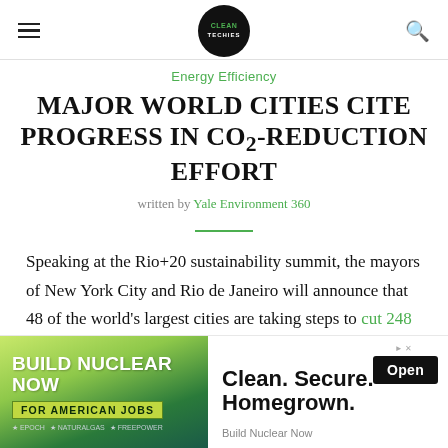CleanTechies logo header with hamburger menu and search icon
Energy Efficiency
MAJOR WORLD CITIES CITE PROGRESS IN CO2-REDUCTION EFFORT
written by Yale Environment 360
Speaking at the Rio+20 sustainability summit, the mayors of New York City and Rio de Janeiro will announce that 48 of the world's largest cities are taking steps to cut 248 tons of greenhouse gas emissions by 2020, the equivalent of removing 44 million cars from the road for a year.
[Figure (infographic): Advertisement banner: BUILD NUCLEAR NOW FOR AMERICAN JOBS with Clean. Secure. Homegrown. and Open button]